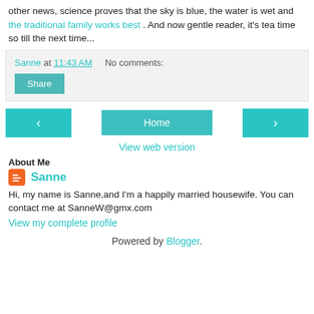other news, science proves that the sky is blue, the water is wet and the traditional family works best . And now gentle reader, it's tea time  so till the next time...
Sanne at 11:43 AM    No comments:
Share
‹   Home   ›
View web version
About Me
Sanne
Hi, my name is Sanne,and I'm a happily married housewife. You can contact me at SanneW@gmx.com
View my complete profile
Powered by Blogger.